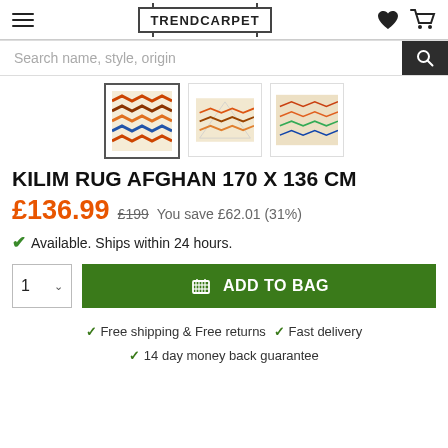TRENDCARPET
KILIM RUG AFGHAN 170 X 136 CM
£136.99  £199  You save £62.01 (31%)
Available. Ships within 24 hours.
ADD TO BAG
Free shipping & Free returns  ✓  Fast delivery
14 day money back guarantee